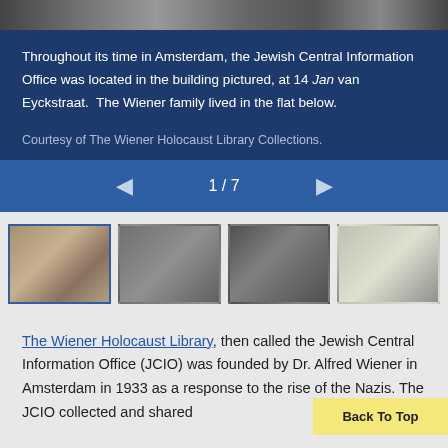[Figure (photo): Top portion of a historical black-and-white photograph showing street scene with bicycles, used as image carousel display]
Throughout its time in Amsterdam, the Jewish Central Information Office was located in the building pictured, at 14 Jan van Eyckstraat.  The Wiener family lived in the flat below.

Courtesy of The Wiener Holocaust Library Collections.
[Figure (screenshot): Navigation bar showing previous arrow, page indicator '1 / 7', and next arrow for image carousel]
[Figure (photo): Row of four thumbnail images: 1) black-and-white street/building photo (selected), 2) portrait of a man in suit, 3) group of people, 4) partial document or paper]
The Wiener Holocaust Library, then called the Jewish Central Information Office (JCIO) was founded by Dr. Alfred Wiener in Amsterdam in 1933 as a response to the rise of the Nazis. The JCIO collected and shared